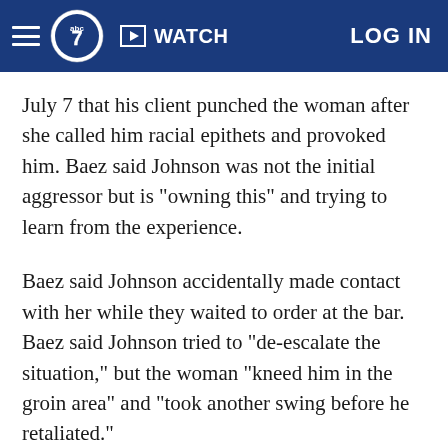ABC7 | WATCH | LOG IN
July 7 that his client punched the woman after she called him racial epithets and provoked him. Baez said Johnson was not the initial aggressor but is "owning this" and trying to learn from the experience.
Baez said Johnson accidentally made contact with her while they waited to order at the bar. Baez said Johnson tried to "de-escalate the situation," but the woman "kneed him in the groin area" and "took another swing before he retaliated."